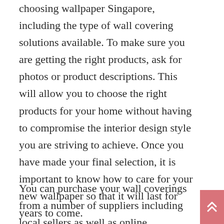choosing wallpaper Singapore, including the type of wall covering solutions available. To make sure you are getting the right products, ask for photos or product descriptions. This will allow you to choose the right products for your home without having to compromise the interior design style you are striving to achieve. Once you have made your final selection, it is important to know how to care for your new wallpaper so that it will last for years to come.
You can purchase your wall coverings from a number of suppliers including local sellers as well as online businesses. Before you buy, however, it is important to ensure that you are getting the right products for your needs. Remember that these products come in a variety of sizes and textures, and that the samples you see may be printed on a piece of paper and not